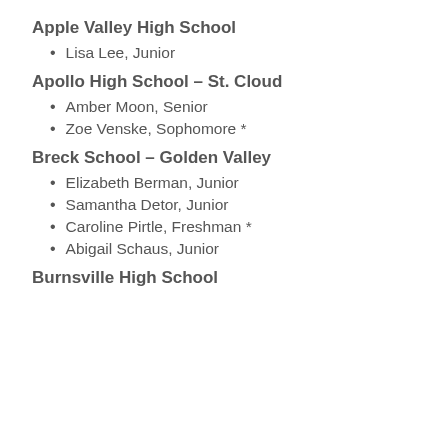Apple Valley High School
Lisa Lee, Junior
Apollo High School – St. Cloud
Amber Moon, Senior
Zoe Venske, Sophomore *
Breck School – Golden Valley
Elizabeth Berman, Junior
Samantha Detor, Junior
Caroline Pirtle, Freshman *
Abigail Schaus, Junior
Burnsville High School